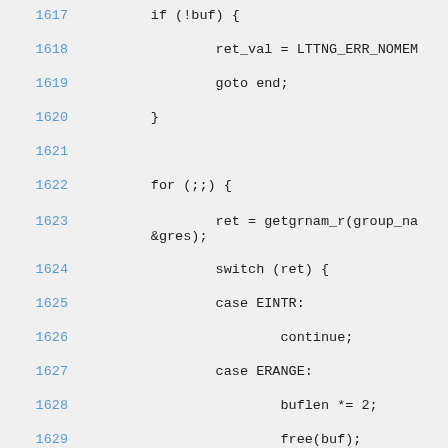[Figure (screenshot): Source code listing in monospace font showing C code lines 1617-1631. Line numbers in blue on the left, code in dark/black on the right. Background is light gray.]